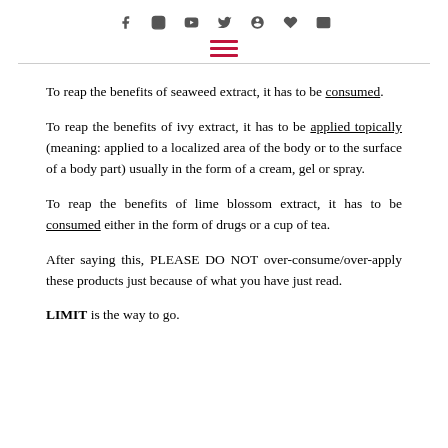Social media icons and hamburger menu
To reap the benefits of seaweed extract, it has to be consumed.
To reap the benefits of ivy extract, it has to be applied topically (meaning: applied to a localized area of the body or to the surface of a body part) usually in the form of a cream, gel or spray.
To reap the benefits of lime blossom extract, it has to be consumed either in the form of drugs or a cup of tea.
After saying this, PLEASE DO NOT over-consume/over-apply these products just because of what you have just read.
LIMIT is the way to go.